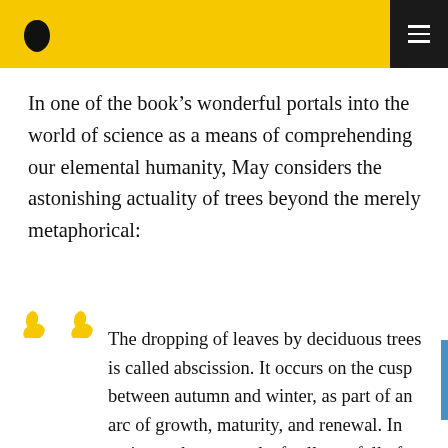[Brainpickings logo and navigation menu]
In one of the book’s wonderful portals into the world of science as a means of comprehending our elemental humanity, May considers the astonishing actuality of trees beyond the merely metaphorical:
The dropping of leaves by deciduous trees is called abscission. It occurs on the cusp between autumn and winter, as part of an arc of growth, maturity, and renewal. In spring and summer, leaf cells are full of chlorophyll, a bright green substance that absorbs sunlight, fueling the process that converts carbon dioxide and water into the starch and sugar that allow the tree to grow. But at the end of the summer, as the days